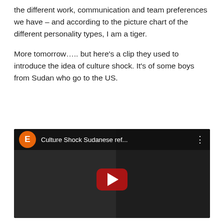the different work, communication and team preferences we have – and according to the picture chart of the different personality types, I am a tiger.
More tomorrow….. but here's a clip they used to introduce the idea of culture shock. It's of some boys from Sudan who go to the US.
[Figure (screenshot): Embedded YouTube video thumbnail titled 'Culture Shock Sudanese ref...' with an orange avatar circle showing the letter E, a three-dot menu icon, and a red YouTube play button overlay on a dark video scene.]